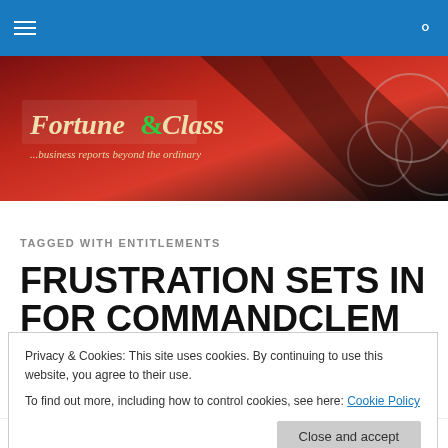Fortune & Class — navigation bar
[Figure (logo): Fortune & Class logo with tagline '...business reports beyond the ordinary' on a dark red and black gradient banner background with decorative circles on the right]
TAGGED WITH ENTITLEMENTS
FRUSTRATION SETS IN FOR COMMANDCLEM
Privacy & Cookies: This site uses cookies. By continuing to use this website, you agree to their use.
To find out more, including how to control cookies, see here: Cookie Policy
[Close and accept button]
N1million before June 19 2008 in the Commandclem Social Security